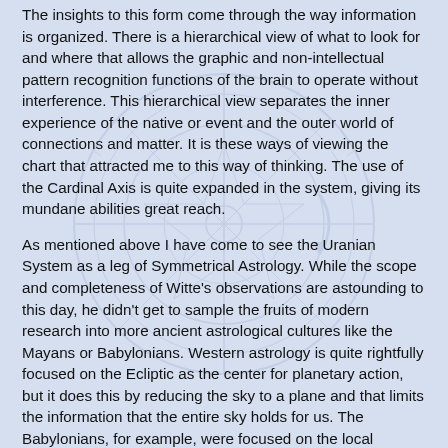The insights to this form come through the way information is organized. There is a hierarchical view of what to look for and where that allows the graphic and non-intellectual pattern recognition functions of the brain to operate without interference. This hierarchical view separates the inner experience of the native or event and the outer world of connections and matter. It is these ways of viewing the chart that attracted me to this way of thinking. The use of the Cardinal Axis is quite expanded in the system, giving its mundane abilities great reach.
As mentioned above I have come to see the Uranian System as a leg of Symmetrical Astrology. While the scope and completeness of Witte's observations are astounding to this day, he didn't get to sample the fruits of modern research into more ancient astrological cultures like the Mayans or Babylonians. Western astrology is quite rightfully focused on the Ecliptic as the center for planetary action, but it does this by reducing the sky to a plane and that limits the information that the entire sky holds for us. The Babylonians, for example, were focused on the local horizon, which allowed them to include the entire sky without distortions caused by projections to a plane. In the modern world we are not bound by place in the way the